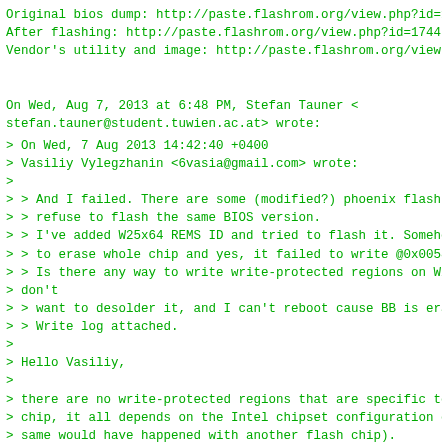Original bios dump: http://paste.flashrom.org/view.php?id=1/4
After flashing: http://paste.flashrom.org/view.php?id=1744 (b
Vendor's utility and image: http://paste.flashrom.org/view.ph
On Wed, Aug 7, 2013 at 6:48 PM, Stefan Tauner <
stefan.tauner@student.tuwien.ac.at> wrote:
> On Wed, 7 Aug 2013 14:42:40 +0400
> Vasiliy Vylegzhanin <6vasia@gmail.com> wrote:
>
> > And I failed. There are some (modified?) phoenix flash to
> > refuse to flash the same BIOS version.
> > I've added W25x64 REMS ID and tried to flash it. Somehow
> > to erase whole chip and yes, it failed to write @0x005800
> > Is there any way to write write-protected regions on W25x
> don't
> > want to desolder it, and I can't reboot cause BB is erase
> > Write log attached.
>
> Hello Vasiliy,
>
> there are no write-protected regions that are specific to t
> chip, it all depends on the Intel chipset configuration onl
> same would have happened with another flash chip).
>
> TBH I dont totally grasp your log. Your overall analysis se
> correct though: the erase opcode might have got through. I
> your changes are exactly. Can you please post your patch? I
> how your images look like. If you can please upload them to
> http://paste.flashrom.org (they will be password protected